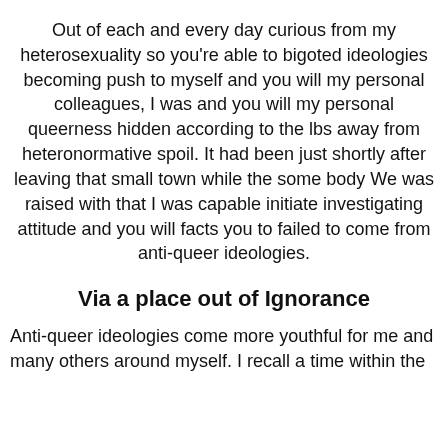Out of each and every day curious from my heterosexuality so you're able to bigoted ideologies becoming push to myself and you will my personal colleagues, I was and you will my personal queerness hidden according to the lbs away from heteronormative spoil. It had been just shortly after leaving that small town while the some body We was raised with that I was capable initiate investigating attitude and you will facts you to failed to come from anti-queer ideologies.
Via a place out of Ignorance
Anti-queer ideologies come more youthful for me and many others around myself. I recall a time within the